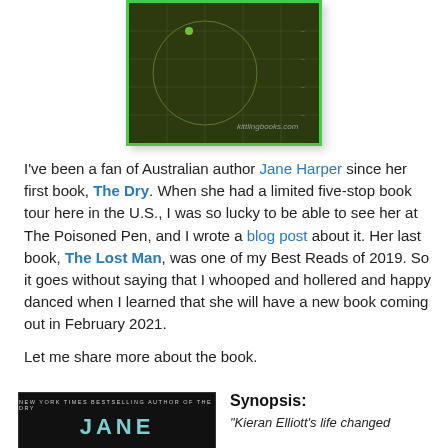[Figure (screenshot): Radar/sonar screen image from kittlingbooks.com, dark green background with grid lines and circular arc, bright green border]
I've been a fan of Australian author Jane Harper since her first book, The Dry. When she had a limited five-stop book tour here in the U.S., I was so lucky to be able to see her at The Poisoned Pen, and I wrote a blog post about it. Her last book, The Lost Man, was one of my Best Reads of 2019. So it goes without saying that I whooped and hollered and happy danced when I learned that she will have a new book coming out in February 2021.
Let me share more about the book.
[Figure (photo): Book cover for Jane Harper book, dark background with teal/cyan large letters JANE, subtitle text: NEW YORK TIMES BESTSELLING AUTHOR OF THE DRY]
Synopsis:
"Kieran Elliott's life changed